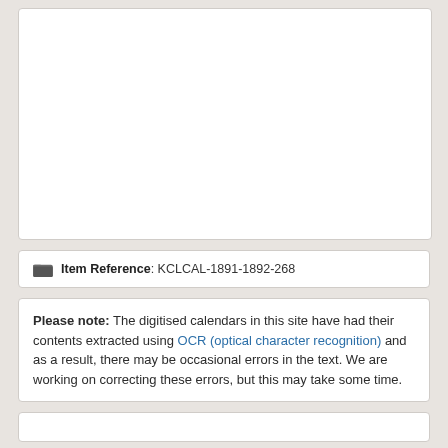[Figure (other): White blank image/document preview box]
Item Reference: KCLCAL-1891-1892-268
Please note: The digitised calendars in this site have had their contents extracted using OCR (optical character recognition) and as a result, there may be occasional errors in the text. We are working on correcting these errors, but this may take some time.